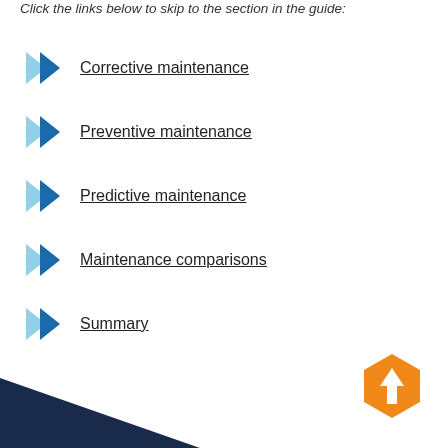Click the links below to skip to the section in the guide:
Corrective maintenance
Preventive maintenance
Predictive maintenance
Maintenance comparisons
Summary